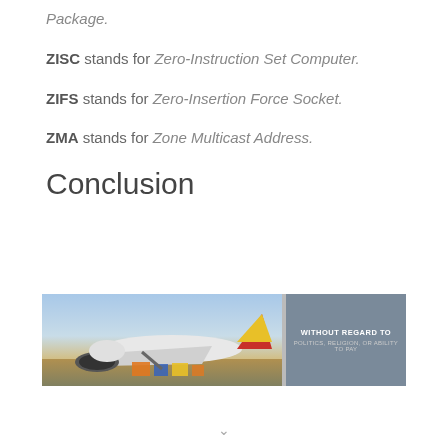Package.
ZISC stands for Zero-Instruction Set Computer.
ZIFS stands for Zero-Insertion Force Socket.
ZMA stands for Zone Multicast Address.
Conclusion
[Figure (photo): Advertisement banner showing an aircraft being loaded with cargo on tarmac, with a dark overlay panel on the right reading 'WITHOUT REGARD TO POLITICS, RELIGION, OR ABILITY TO PAY']